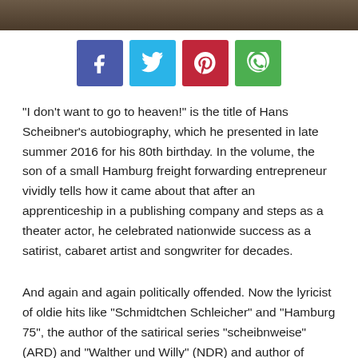[Figure (photo): Top strip showing a partial photo of a person, dark tones]
[Figure (infographic): Social share buttons: Facebook (blue-purple), Twitter (light blue), Pinterest (red), WhatsApp (green)]
“I don’t want to go to heaven!” is the title of Hans Scheibner’s autobiography, which he presented in late summer 2016 for his 80th birthday. In the volume, the son of a small Hamburg freight forwarding entrepreneur vividly tells how it came about that after an apprenticeship in a publishing company and steps as a theater actor, he celebrated nationwide success as a satirist, cabaret artist and songwriter for decades.
And again and again politically offended. Now the lyricist of oldie hits like “Schmidtchen Schleicher” and “Hamburg 75”, the author of the satirical series “scheibnweise” (ARD) and “Walther und Willy” (NDR) and author of numerous books is possibly on cloud nine.